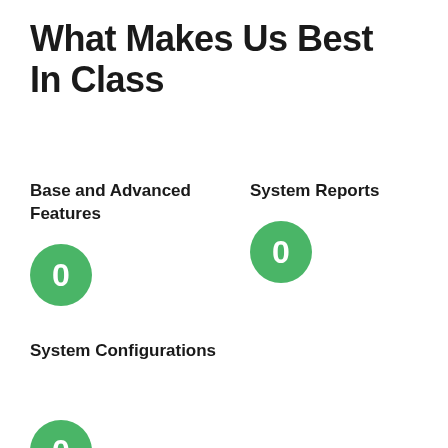What Makes Us Best In Class
Base and Advanced Features
System Reports
0
0
System Configurations
0